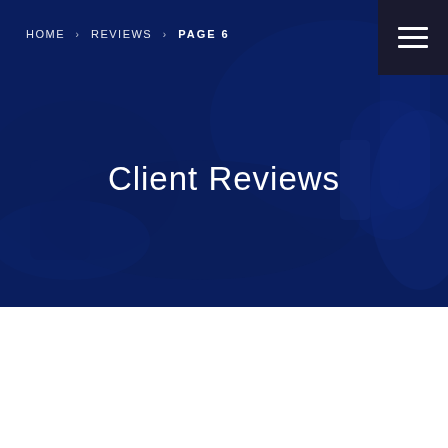HOME › REVIEWS › PAGE 6
Client Reviews
[Figure (photo): Dark blue tinted industrial or medical equipment background image with overlay, used as hero banner]